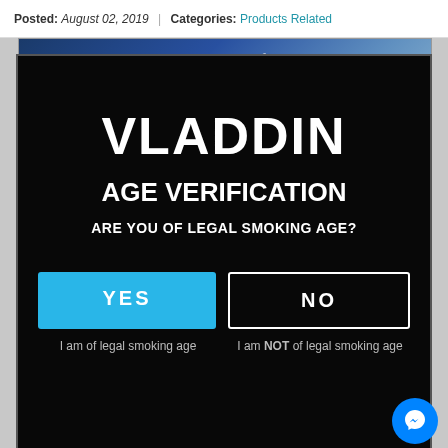Posted: August 02, 2019 | Categories: Products Related
[Figure (screenshot): Vladdin product image with brand name and JESSIE text on blue gradient background]
VLADDIN
AGE VERIFICATION
ARE YOU OF LEGAL SMOKING AGE?
YES
NO
I am of legal smoking age
I am NOT of legal smoking age
[Figure (illustration): Cartoon character (Ralph Wiggum from The Simpsons) waving, shown at bottom of page behind age verification modal]
[Figure (logo): Facebook Messenger chat button (blue circle with lightning bolt messenger icon)]